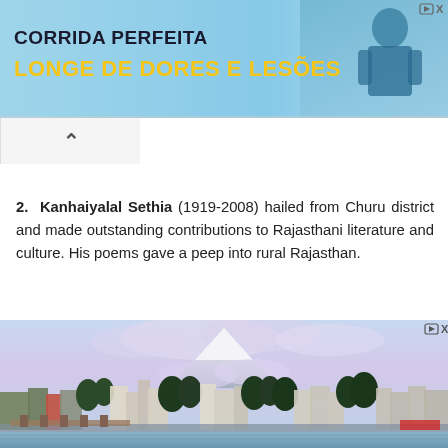[Figure (photo): Advertisement banner with cyan/light blue background. Text reads 'CORRIDA PERFEITA' in bold dark letters and 'LONGE DE DORES E LESÕES' in bold yellow letters. A person in a blue shirt is partially visible on the right.]
2. Kanhaiyalal Sethia (1919-2008) hailed from Churu district and made outstanding contributions to Rajasthani literature and culture. His poems gave a peep into rural Rajasthan.
[Figure (photo): Photograph of a cityscape with a large snow-capped mountain (likely Mount Rainier) visible in the background above clouds. The foreground shows a waterfront city with piers, buildings, and trees. Colors are blue, green, and white.]